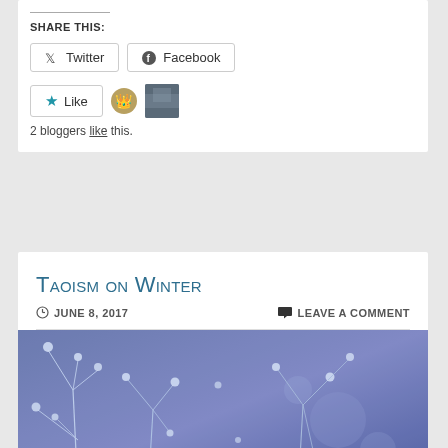Share this:
Twitter
Facebook
Like
2 bloggers like this.
Taoism on Winter
JUNE 8, 2017
LEAVE A COMMENT
[Figure (photo): Winter botanical photo: delicate frosted plant stems with small buds against a blurred blue-purple background]